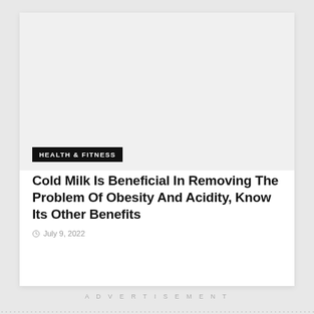[Figure (photo): Light gray placeholder image area for article thumbnail]
HEALTH & FITNESS
Cold Milk Is Beneficial In Removing The Problem Of Obesity And Acidity, Know Its Other Benefits
July 9, 2022
ADVERTISEMENT